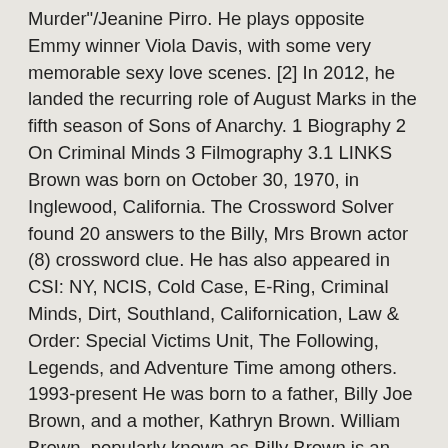Murder"/Jeanine Pirro. He plays opposite Emmy winner Viola Davis, with some very memorable sexy love scenes. [2] In 2012, he landed the recurring role of August Marks in the fifth season of Sons of Anarchy. 1 Biography 2 On Criminal Minds 3 Filmography 3.1 LINKS Brown was born on October 30, 1970, in Inglewood, California. The Crossword Solver found 20 answers to the Billy, Mrs Brown actor (8) crossword clue. He has also appeared in CSI: NY, NCIS, Cold Case, E-Ring, Criminal Minds, Dirt, Southland, Californication, Law & Order: Special Victims Unit, The Following, Legends, and Adventure Time among others. 1993-present He was born to a father, Billy Joe Brown, and a mother, Kathryn Brown. William Brown, popularly known as Billy Brown is an American actor. Billy Brown was born on 30 October 1970. Billy Brown Biography - Affair, Single, Ethnicity, Nationality, Salary, Net Worth, Height | Who is Billy Brown? Billy was born on 30 October 1970. As he is known as